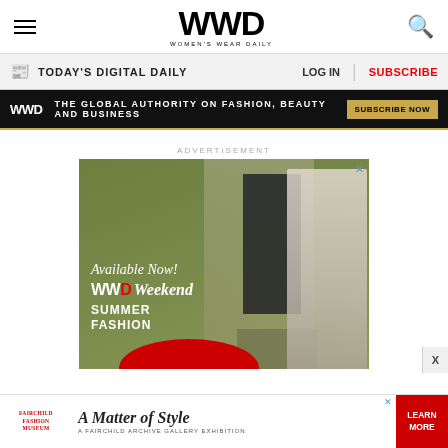WWD — WOMEN'S WEAR DAILY
TODAY'S DIGITAL DAILY   LOG IN  |  SUBSCRIBE
WWD — THE GLOBAL AUTHORITY ON FASHION, BEAUTY AND BUSINESS — SUBSCRIBE NOW
ADVERTISEMENT
[Figure (infographic): WWD Weekend advertisement: 'Available Now! WWD Weekend SUMMER FASHION' with a fashion model on olive green background]
[Figure (infographic): Fairchild Fashion Museum advertisement: 'A Matter of Style — A Fairchild Archive Gallery Exhibition' with LEARN MORE button]